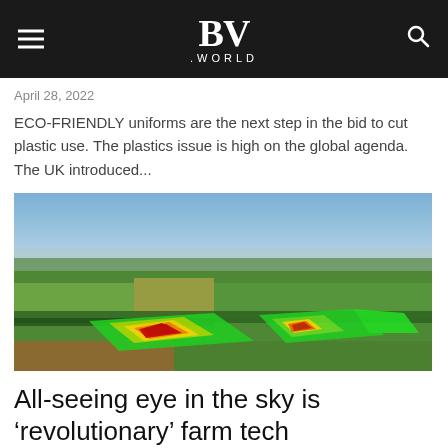BV .WORLD
April 28, 2022
ECO-FRIENDLY uniforms are the next step in the bid to cut plastic use. The plastics issue is high on the global agenda. The UK introduced...
[Figure (photo): Aerial photograph of green English countryside fields with thermal/infrared overlay showing red, yellow, and green heat map coloring on two adjacent farm fields, with a distant town visible on the horizon under a blue sky.]
All-seeing eye in the sky is ‘revolutionary’ farm tech